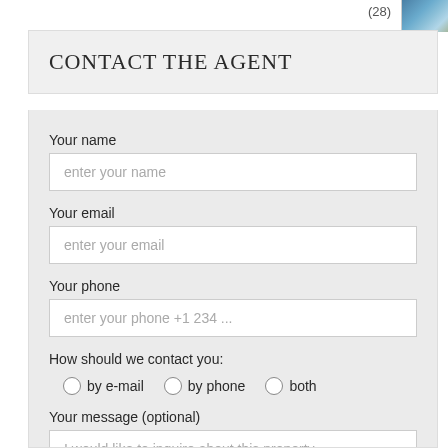(28)
CONTACT THE AGENT
Your name
enter your name
Your email
enter your email
Your phone
enter your phone +1 234 ...
How should we contact you:
by e-mail   by phone   both
Your message (optional)
I would like to inquire about this property